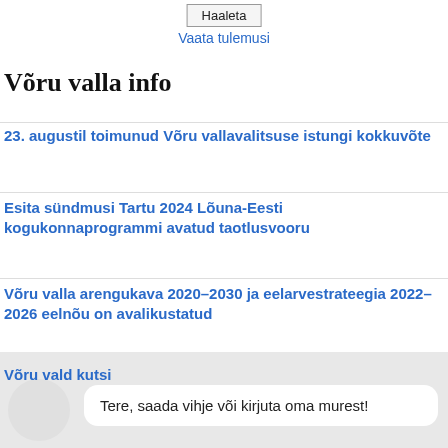Haaleta
Vaata tulemusi
Võru valla info
23. augustil toimunud Võru vallavalitsuse istungi kokkuvõte
Esita sündmusi Tartu 2024 Lõuna-Eesti kogukonnaprogrammi avatud taotlusvooru
Võru valla arengukava 2020–2030 ja eelarvestrateegia 2022–2026 eelnõu on avalikustatud
Võru vald kutsi
Tere, saada vihje või kirjuta oma murest!